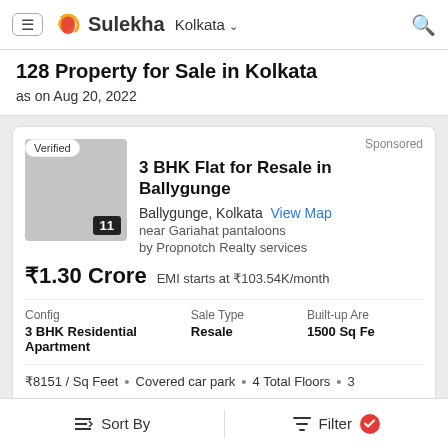Sulekha Kolkata
128 Property for Sale in Kolkata
as on Aug 20, 2022
Sponsored
3 BHK Flat for Resale in Ballygunge
Ballygunge, Kolkata  View Map
near Gariahat pantaloons
by Propnotch Realty services
₹1.30 Crore  EMI starts at ₹103.54K/month
Config: 3 BHK Residential Apartment  Sale Type: Resale  Built-up Area: 1500 Sq Fe
₹8151 / Sq Feet • Covered car park • 4 Total Floors • 3
Sort By    Filter